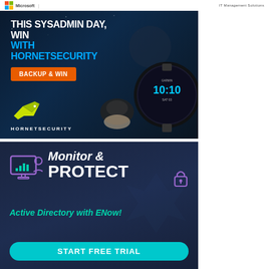Microsoft | IT Management Solutions
[Figure (illustration): Hornetsecurity advertisement: dark blue background with 'THIS SYSADMIN DAY, WIN WITH HORNETSECURITY' text, orange 'BACKUP & WIN' button, Hornetsecurity yellow bird logo, and product images of a Garmin smartwatch showing 10:10 and a wireless mouse]
[Figure (illustration): ENow advertisement: dark navy background with 'Monitor & PROTECT' text, teal 'Active Directory with ENow!' subtext, monitor/person icon, lock icon, and a cyan 'START FREE TRIAL' button]